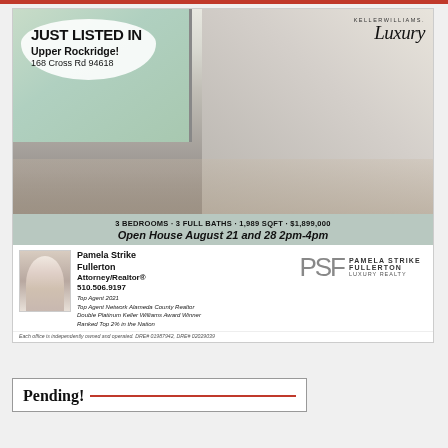[Figure (photo): Real estate listing advertisement for 168 Cross Rd 94618 in Upper Rockridge. Shows interior living room photo with modern furniture, large windows, hardwood floors. Features Keller Williams Luxury branding.]
JUST LISTED IN
Upper Rockridge!
168 Cross Rd 94618
3 BEDROOMS - 3 FULL BATHS - 1,989 SQFT - $1,899,000
Open House August 21 and 28 2pm-4pm
Pamela Strike Fullerton
Attorney/Realtor®
510.506.9197
Top Agent 2021
Top Agent Network Alameda County Realtor
Double Platinum Keller Williams Award Winner
Ranked Top 2% in the Nation
[Figure (logo): PSF - Pamela Strike Fullerton Luxury Realty logo]
Each office is independently owned and operated. DRE# 01987942, DRE# 02029039
Pending!